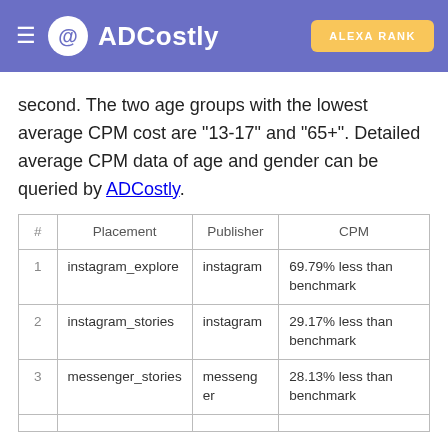ADCostly — ALEXA RANK
second. The two age groups with the lowest average CPM cost are "13-17" and "65+". Detailed average CPM data of age and gender can be queried by ADCostly.
| # | Placement | Publisher | CPM |
| --- | --- | --- | --- |
| 1 | instagram_explore | instagram | 69.79% less than benchmark |
| 2 | instagram_stories | instagram | 29.17% less than benchmark |
| 3 | messenger_stories | messenger | 28.13% less than benchmark |